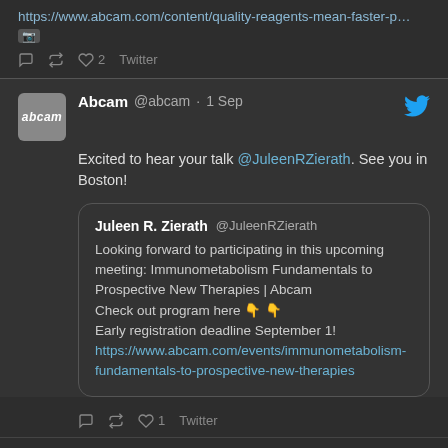https://www.abcam.com/content/quality-reagents-mean-faster-p…
0 retweet 2 likes Twitter
[Figure (screenshot): Tweet from Abcam (@abcam) dated 1 Sep: 'Excited to hear your talk @JuleenRZierath. See you in Boston!' with a quoted tweet from Juleen R. Zierath @JuleenRZierath: 'Looking forward to participating in this upcoming meeting: Immunometabolism Fundamentals to Prospective New Therapies | Abcam Check out program here 👇👇 Early registration deadline September 1! https://www.abcam.com/events/immunometabolism-fundamentals-to-prospective-new-therapies']
0 retweet 1 like Twitter